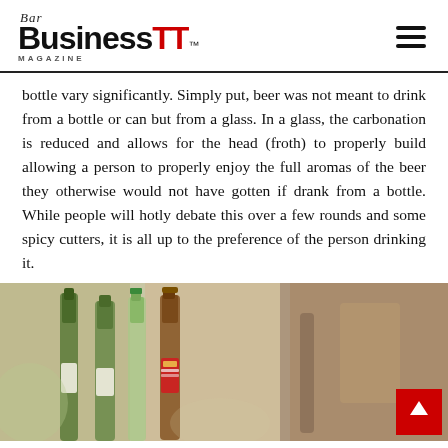Bar Business TT Magazine
bottle vary significantly. Simply put, beer was not meant to drink from a bottle or can but from a glass. In a glass, the carbonation is reduced and allows for the head (froth) to properly build allowing a person to properly enjoy the full aromas of the beer they otherwise would not have gotten if drank from a bottle. While people will hotly debate this over a few rounds and some spicy cutters, it is all up to the preference of the person drinking it.
[Figure (photo): Multiple beer bottles of various brands including Budweiser lined up, photographed from a low angle with bokeh background]